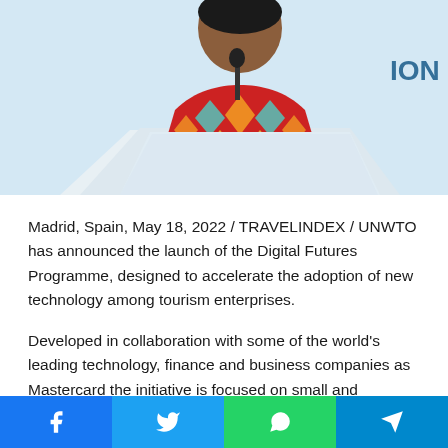[Figure (photo): A woman in a colorful patterned dress speaking at a podium with a microphone in front of a light blue background. Partial text 'ION O' visible in top right corner.]
Madrid, Spain, May 18, 2022 / TRAVELINDEX / UNWTO has announced the launch of the Digital Futures Programme, designed to accelerate the adoption of new technology among tourism enterprises.
Developed in collaboration with some of the world's leading technology, finance and business companies as Mastercard the initiative is focused on small and medium-sized enterprises (SMEs), which make up 80% of all tourism businesses. UNWTO aims to reach at least 1 million tourism SMEs over the lifetime of the Programme, providing them with